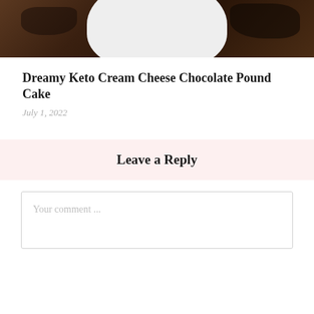[Figure (photo): Top portion of a chocolate cake on a white plate, photographed on a wooden surface, showing dark chocolate frosting or ganache.]
Dreamy Keto Cream Cheese Chocolate Pound Cake
July 1, 2022
Leave a Reply
Your comment ...